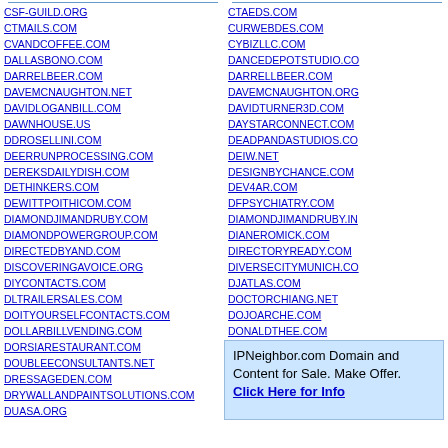CSF-GUILD.ORG
CTMAILS.COM
CVANDCOFFEE.COM
DALLASBONO.COM
DARRELBEER.COM
DAVEMCNAUGHTON.NET
DAVIDLOGANBILL.COM
DAWNHOUSE.US
DDROSELLINI.COM
DEERRUNPROCESSING.COM
DEREKSDAILYDISH.COM
DETHINKERS.COM
DEWITTPOTHICOM.COM
DIAMONDJIMANDRUBY.COM
DIAMONDPOWERGROUP.COM
DIRECTEDBYAND.COM
DISCOVERINGAVOICE.ORG
DIYCONTACTS.COM
DLTRAILERSALES.COM
DOITYOURSELFCONTACTS.COM
DOLLARBILLVENDING.COM
DORSIARESTAURANT.COM
DOUBLEECONSULTANTS.NET
DRESSAGEDEN.COM
DRYWALLANDPAINTSOLUTIONS.COM
DUASA.ORG
DUELNURSERY.COM
DZVIVA.COM
CTAEDS.COM
CURWEBDES.COM
CYBIZLLC.COM
DANCEDEPOTSTUDIO.COM
DARRELLBEER.COM
DAVEMCNAUGHTON.ORG
DAVIDTURNER3D.COM
DAYSTARCONNECT.COM
DEADPANDASTUDIOS.COM
DEIW.NET
DESIGNBYCHANCE.COM
DEV4AR.COM
DFPSYCHIATRY.COM
DIAMONDJIMANDRUBY.IN
DIANEROMICK.COM
DIRECTORYREADY.COM
DIVERSECITYMUNICH.COM
DJATLAS.COM
DOCTORCHIANG.NET
DOJOARCHE.COM
DONALDTHEE.COM
DOTASCENE.ORG
DOWNHILLPODCASTER.COM
IPNeighbor.com Domain and Content for Sale. Make Offer. Click Here for Info